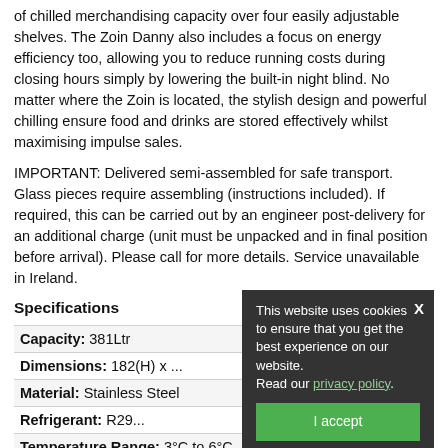of chilled merchandising capacity over four easily adjustable shelves. The Zoin Danny also includes a focus on energy efficiency too, allowing you to reduce running costs during closing hours simply by lowering the built-in night blind. No matter where the Zoin is located, the stylish design and powerful chilling ensure food and drinks are stored effectively whilst maximising impulse sales.
IMPORTANT: Delivered semi-assembled for safe transport. Glass pieces require assembling (instructions included). If required, this can be carried out by an engineer post-delivery for an additional charge (unit must be unpacked and in final position before arrival). Please call for more details. Service unavailable in Ireland.
Specifications
| Capacity: | 381Ltr |
| Dimensions: | 182(H) x ... |
| Material: | Stainless Steel |
| Refrigerant: | R29... |
| Temperature Range: | 3°C to 6°C |
| Voltage: | 230V |
This website uses cookies to ensure that you get the best experience on our website. Read our privacy policy. [I accept]